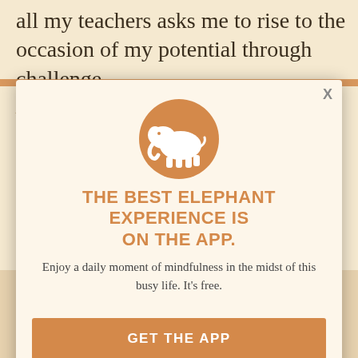all my teachers asks me to rise to the occasion of my potential through challenge
And as signified by the broken tusk, we learn humility as vulnerability, building up and breaking again in cycles. As one of my favorite poets, Mir wrote:
[Figure (logo): White elephant icon on an orange/gold circular background — the Elephant Journal app logo]
THE BEST ELEPHANT EXPERIENCE IS ON THE APP.
Enjoy a daily moment of mindfulness in the midst of this busy life. It's free.
GET THE APP
OPEN IN APP